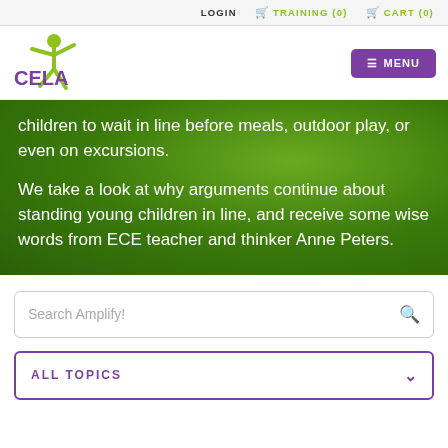LOGIN  🛒 TRAINING (0)  🛒 CART (0)
[Figure (logo): CELA logo with green figure and purple text]
children to wait in line before meals, outdoor play, or even on excursions.
We take a look at why arguments continue about standing young children in line, and receive some wise words from ECE teacher and thinker Anne Peters.
Search Amplify!
ALL TOPICS